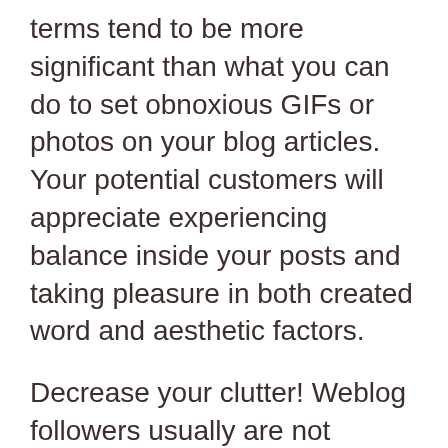terms tend to be more significant than what you can do to set obnoxious GIFs or photos on your blog articles. Your potential customers will appreciate experiencing balance inside your posts and taking pleasure in both created word and aesthetic factors.
Decrease your clutter! Weblog followers usually are not enthusiastic about overpowering amounts of pointless or not related interruptions on your own site. This takes in the eye away from the major concentrate of the website your composing. Within the attention of keeping viewers, retain the mess as low as possible and reside by that rule.